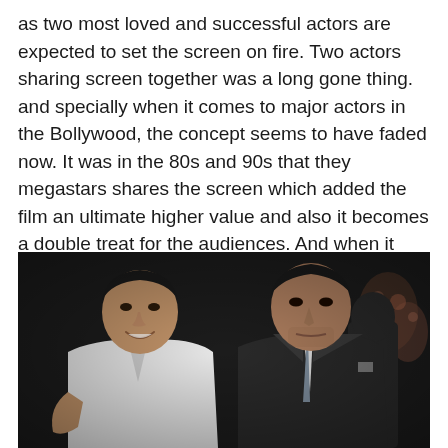as two most loved and successful actors are expected to set the screen on fire. Two actors sharing screen together was a long gone thing. and specially when it comes to major actors in the Bollywood, the concept seems to have faded now. It was in the 80s and 90s that they megastars shares the screen which added the film an ultimate higher value and also it becomes a double treat for the audiences. And when it comes to actors like Akshay Kumar Hrithik Roshan on one screen, it is something definitely to watch out.
[Figure (photo): Two Bollywood actors, Akshay Kumar on the left wearing a white shirt and Hrithik Roshan on the right wearing a dark suit with a grey tie, posing together at an event against a dark background with some floral decorations visible on the right.]